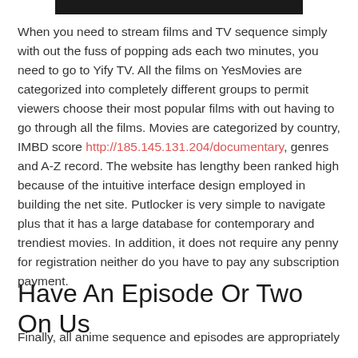[Figure (other): Black rectangular bar at top center of page]
When you need to stream films and TV sequence simply with out the fuss of popping ads each two minutes, you need to go to Yify TV. All the films on YesMovies are categorized into completely different groups to permit viewers choose their most popular films with out having to go through all the films. Movies are categorized by country, IMBD score http://185.145.131.204/documentary, genres and A-Z record. The website has lengthy been ranked high because of the intuitive interface design employed in building the net site. Putlocker is very simple to navigate plus that it has a large database for contemporary and trendiest movies. In addition, it does not require any penny for registration neither do you have to pay any subscription payment.
Have An Episode Or Two On Us
Finally, all anime sequence and episodes are appropriately